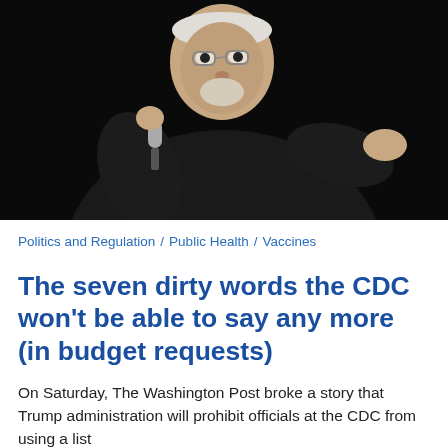[Figure (photo): An older man with white hair and glasses, dressed in all black, holding a microphone and gesturing with one hand outstretched, against a dark background.]
Politics and Regulation / Public Health / Vaccines
The seven dirty words the CDC won't be able to say any more (in budget requests)
On Saturday, The Washington Post broke a story that Trump administration will prohibit officials at the CDC from using a list